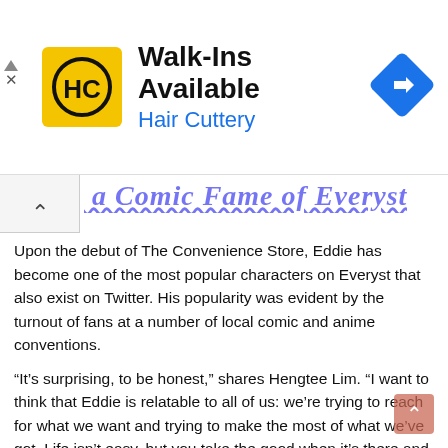[Figure (infographic): Hair Cuttery advertisement banner. Yellow square logo with 'HC' text and black circle, bold text 'Walk-Ins Available', blue text 'Hair Cuttery', blue diamond road-sign icon on right. Small triangle play button and X (close) on far left.]
...a Comic Fame of Everyst
Upon the debut of The Convenience Store, Eddie has become one of the most popular characters on Everyst that also exist on Twitter. His popularity was evident by the turnout of fans at a number of local comic and anime conventions.
“It’s surprising, to be honest,” shares Hengtee Lim. “I want to think that Eddie is relatable to all of us: we’re trying to reach for what we want and trying to make the most of what we’ve got. Life isn’t easy, but you take the good when it’s there and you keep dreaming.”
This is why so many readers follow Eddie and his everyday misadventures. There’s an Eddie inside each and every one of us who has tasted victory and defeat and lived to laugh about it. Any emotion we’ve felt is easily channeled through his experiences. Combined with the way Filipino audiences passionately connect